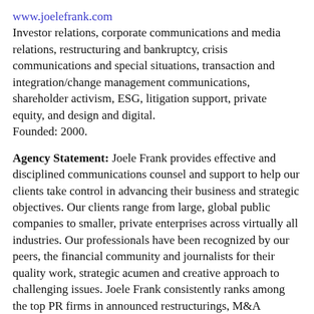www.joelefrank.com
Investor relations, corporate communications and media relations, restructuring and bankruptcy, crisis communications and special situations, transaction and integration/change management communications, shareholder activism, ESG, litigation support, private equity, and design and digital.
Founded: 2000.
Agency Statement: Joele Frank provides effective and disciplined communications counsel and support to help our clients take control in advancing their business and strategic objectives. Our clients range from large, global public companies to smaller, private enterprises across virtually all industries. Our professionals have been recognized by our peers, the financial community and journalists for their quality work, strategic acumen and creative approach to challenging issues. Joele Frank consistently ranks among the top PR firms in announced restructurings, M&A transactions, and defense against activist investors.